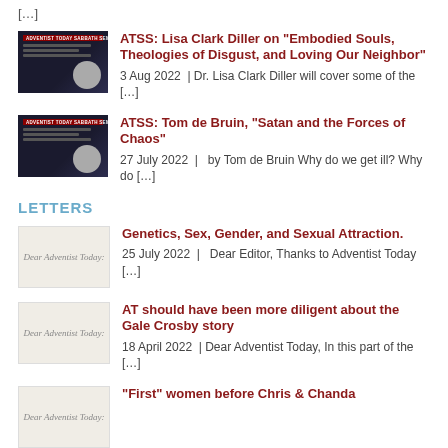[…]
ATSS: Lisa Clark Diller on "Embodied Souls, Theologies of Disgust, and Loving Our Neighbor" — 3 Aug 2022 | Dr. Lisa Clark Diller will cover some of the […]
ATSS: Tom de Bruin, "Satan and the Forces of Chaos" — 27 July 2022 | by Tom de Bruin Why do we get ill? Why do […]
LETTERS
Genetics, Sex, Gender, and Sexual Attraction. — 25 July 2022 | Dear Editor, Thanks to Adventist Today […]
AT should have been more diligent about the Gale Crosby story — 18 April 2022 | Dear Adventist Today, In this part of the […]
"First" women before Chris & Chanda